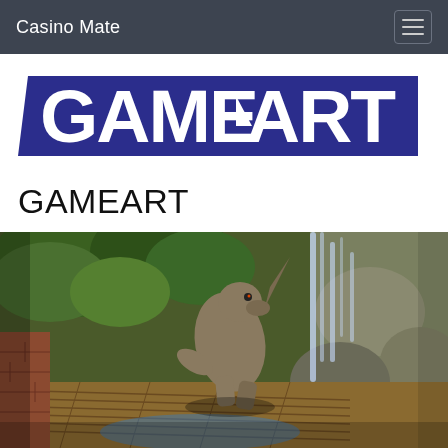Casino Mate
[Figure (logo): GAMEART logo — white bold uppercase text on a dark blue/navy parallelogram-shaped banner background]
GAMEART
[Figure (photo): 3D rendered scene showing a gargoyle-like creature crouching on wooden planks near a waterfall, surrounded by lush jungle foliage and large rocks — game artwork screenshot]